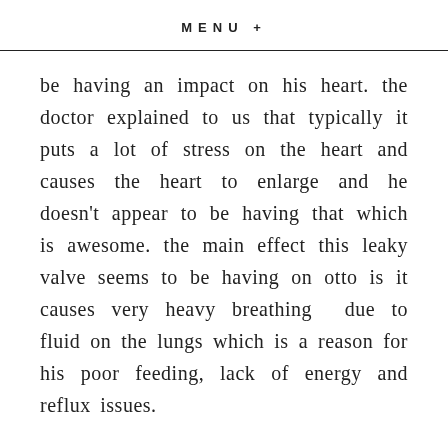MENU +
be having an impact on his heart. the doctor explained to us that typically it puts a lot of stress on the heart and causes the heart to enlarge and he doesn't appear to be having that which is awesome. the main effect this leaky valve seems to be having on otto is it causes very heavy breathing due to fluid on the lungs which is a reason for his poor feeding, lack of energy and reflux issues.
we have been treating him medically with all sorts of meds but when we